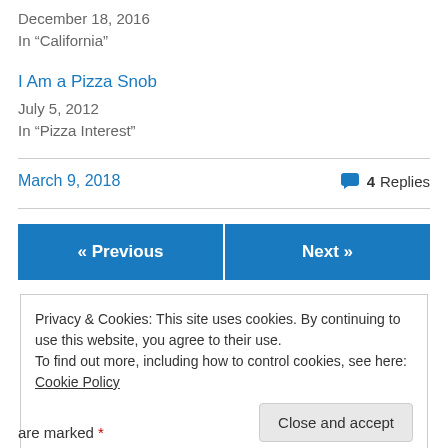December 18, 2016
In "California"
I Am a Pizza Snob
July 5, 2012
In "Pizza Interest"
March 9, 2018   4 Replies
« Previous   Next »
Privacy & Cookies: This site uses cookies. By continuing to use this website, you agree to their use. To find out more, including how to control cookies, see here: Cookie Policy
Close and accept
are marked *